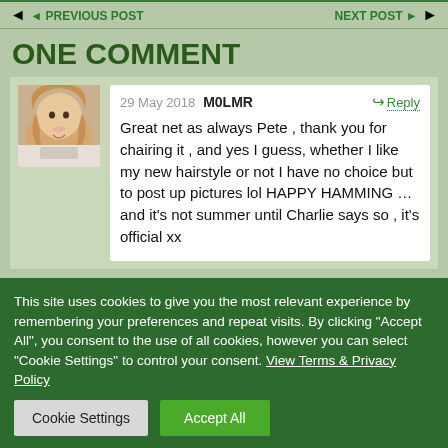◄ PREVIOUS POST    NEXT POST ►
ONE COMMENT
[Figure (photo): Avatar photo of a blonde woman]
29 May 2018  M0LMR  Reply
Great net as always Pete , thank you for chairing it , and yes I guess, whether I like my new hairstyle or not I have no choice but to post up pictures lol HAPPY HAMMING ...and it's not summer until Charlie says so , it's official xx
This site uses cookies to give you the most relevant experience by remembering your preferences and repeat visits. By clicking "Accept All", you consent to the use of all cookies, however you can select "Cookie Settings" to control your consent. View Terms & Privacy Policy
Cookie Settings    Accept All